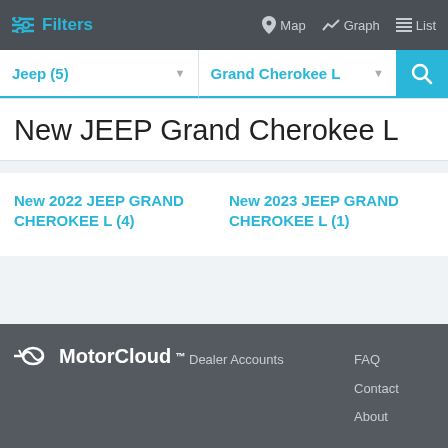Filters  Map  Graph  List
Jeep (5)  Grand Cherokee L
New JEEP Grand Cherokee L
New 2022 JEEP GRAND CHEROKEE L (4)
New 2023 JEEP GRAND CHEROKEE L (1)
MotorCloud™  Dealer Accounts  FAQ  Contact  About